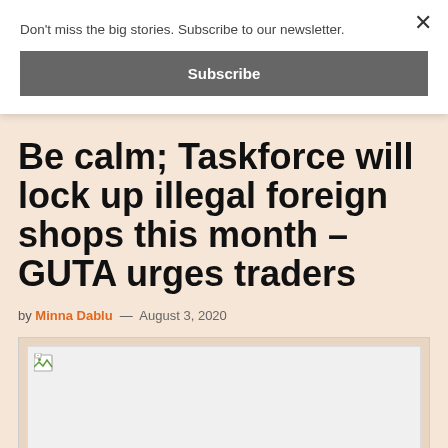Don't miss the big stories. Subscribe to our newsletter.
Subscribe
Be calm; Taskforce will lock up illegal foreign shops this month – GUTA urges traders
by Minna Dablu — August 3, 2020
[Figure (photo): Broken/missing image placeholder]